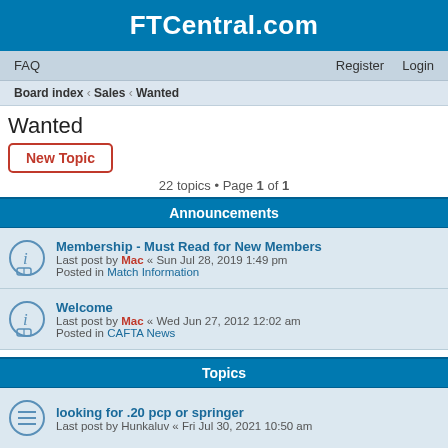FTCentral.com
FAQ    Register    Login
Board index › Sales › Wanted
Wanted
New Topic
22 topics • Page 1 of 1
Announcements
Membership - Must Read for New Members
Last post by Mac « Sun Jul 28, 2019 1:49 pm
Posted in Match Information
Welcome
Last post by Mac « Wed Jun 27, 2012 12:02 am
Posted in CAFTA News
Topics
looking for .20 pcp or springer
Last post by Hunkaluv « Fri Jul 30, 2021 10:50 am
Walther LGR match air rifle
Last post by Lockie « Tue Mar 09, 2021 4:57 pm